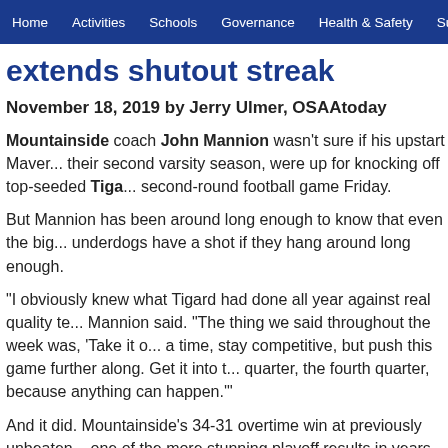Home | Activities | Schools | Governance | Health & Safety | Sup...
extends shutout streak
November 18, 2019 by Jerry Ulmer, OSAAtoday
Mountainside coach John Mannion wasn't sure if his upstart Mave... their second varsity season, were up for knocking off top-seeded Tiga... second-round football game Friday.
But Mannion has been around long enough to know that even the big... underdogs have a shot if they hang around long enough.
“I obviously knew what Tigard had done all year against real quality te... Mannion said. “The thing we said throughout the week was, ‘Take it o... a time, stay competitive, but push this game further along. Get it into t... quarter, the fourth quarter, because anything can happen.’”
And it did. Mountainside’s 34-31 overtime win at previously unbeaten... one of the more stunning playoff results in years. It marked the first ti... current playoff format that a 6A top seed was cut down short of the qu... and for it to happen against a second-year program left many in shoc...